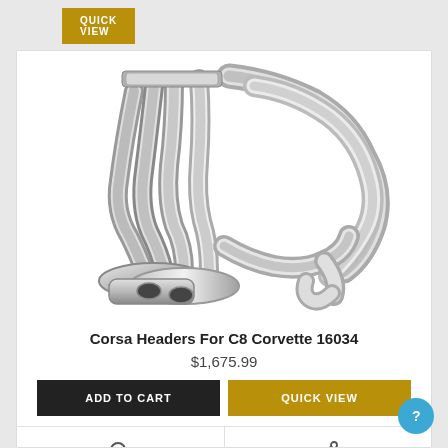[Figure (other): Quick View button at top (partially visible from previous card), gold/amber background with white uppercase text]
[Figure (photo): Product photo of Corsa stainless steel exhaust headers for C8 Corvette, showing complex interwoven polished metal pipes]
Corsa Headers For C8 Corvette 16034
$1,675.99
ADD TO CART
QUICK VIEW